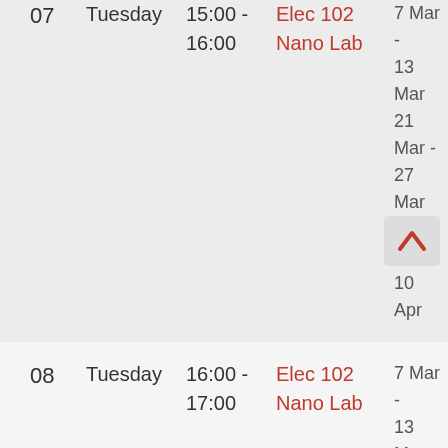| # | Day | Time | Course | Dates |
| --- | --- | --- | --- | --- |
| 07 | Tuesday | 15:00 - 16:00 | Elec 102 Nano Lab | 7 Mar - 13 Mar
21 Mar - 27 Mar
4 Apr - 10 Apr |
| 08 | Tuesday | 16:00 - 17:00 | Elec 102 Nano Lab | 7 Mar - 13 Mar
21 Mar - 27 Mar
4 Apr - 10 Apr |
| 09 | Thursday | 13:00 - 14:00 | Elec 102 Nano Lab | 7 Mar - 13 Mar
21 Mar - 27 Mar
4 Apr - 10 Apr |
| 10 | Thursday | 14:00 - | Elec 102 Nano | 7 Mar - 13 Mar
21 Mar - |